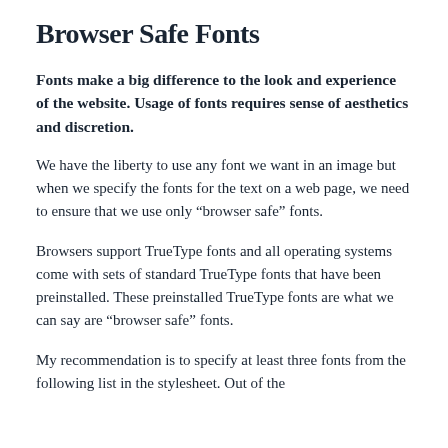Browser Safe Fonts
Fonts make a big difference to the look and experience of the website. Usage of fonts requires sense of aesthetics and discretion.
We have the liberty to use any font we want in an image but when we specify the fonts for the text on a web page, we need to ensure that we use only “browser safe” fonts.
Browsers support TrueType fonts and all operating systems come with sets of standard TrueType fonts that have been preinstalled. These preinstalled TrueType fonts are what we can say are “browser safe” fonts.
My recommendation is to specify at least three fonts from the following list in the stylesheet. Out of the